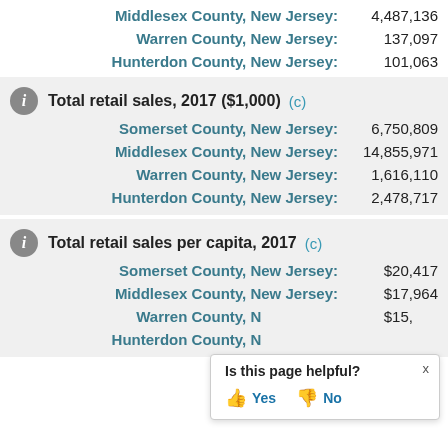| Location | Value |
| --- | --- |
| Middlesex County, New Jersey: | 4,487,136 |
| Warren County, New Jersey: | 137,097 |
| Hunterdon County, New Jersey: | 101,063 |
Total retail sales, 2017 ($1,000)  (c)
| Location | Value |
| --- | --- |
| Somerset County, New Jersey: | 6,750,809 |
| Middlesex County, New Jersey: | 14,855,971 |
| Warren County, New Jersey: | 1,616,110 |
| Hunterdon County, New Jersey: | 2,478,717 |
Total retail sales per capita, 2017  (c)
| Location | Value |
| --- | --- |
| Somerset County, New Jersey: | $20,417 |
| Middlesex County, New Jersey: | $17,964 |
| Warren County, New Jersey: | $15,991 |
| Hunterdon County, New Jersey: |  |